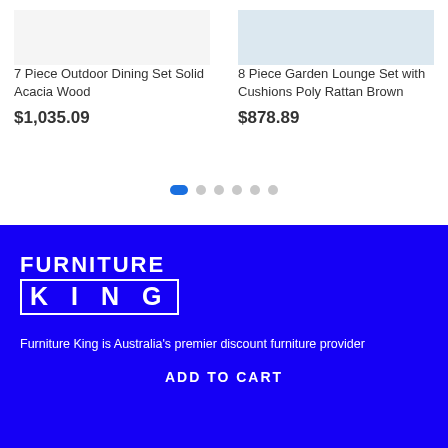7 Piece Outdoor Dining Set Solid Acacia Wood
$1,035.09
8 Piece Garden Lounge Set with Cushions Poly Rattan Brown
$878.89
[Figure (other): Carousel navigation dots: one active blue elongated dot followed by five inactive grey circular dots]
[Figure (logo): Furniture King logo: FURNITURE in large white bold letters above KING in large white bold letters inside a white rectangular border, on a blue background]
Furniture King is Australia's premier discount furniture provider
ADD TO CART